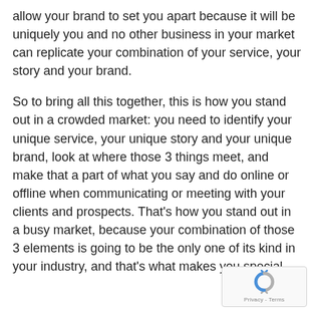allow your brand to set you apart because it will be uniquely you and no other business in your market can replicate your combination of your service, your story and your brand.
So to bring all this together, this is how you stand out in a crowded market: you need to identify your unique service, your unique story and your unique brand, look at where those 3 things meet, and make that a part of what you say and do online or offline when communicating or meeting with your clients and prospects. That’s how you stand out in a busy market, because your combination of those 3 elements is going to be the only one of its kind in your industry, and that’s what makes you special.
[Figure (other): reCAPTCHA badge with circular arrows logo and Privacy - Terms text]